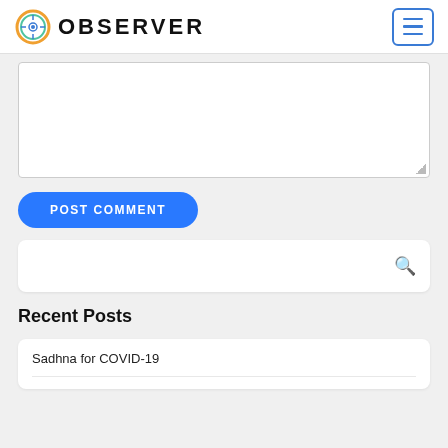OBSERVER
[Figure (screenshot): Comment textarea input box, empty, with resize handle at bottom right]
POST COMMENT
[Figure (screenshot): Search input box with magnifying glass icon on the right]
Recent Posts
Sadhna for COVID-19